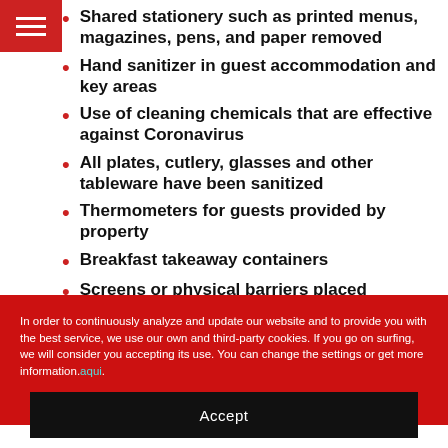Shared stationery such as printed menus, magazines, pens, and paper removed
Hand sanitizer in guest accommodation and key areas
Use of cleaning chemicals that are effective against Coronavirus
All plates, cutlery, glasses and other tableware have been sanitized
Thermometers for guests provided by property
Breakfast takeaway containers
Screens or physical barriers placed between staff and guests in appropriate areas
First aid kit available
Food can be delivered to guest accommodation
In order to continuously analyze and update our website and to provide you with the best service, we use our own and third-party cookies. If you go on surfing, we will consider you accepting its use. You can change the settings or get more information. aqui.
Accept